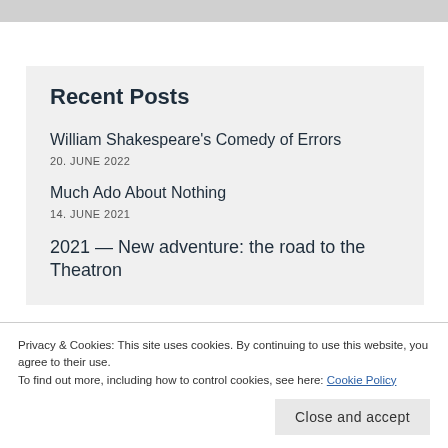Recent Posts
William Shakespeare's Comedy of Errors
20. JUNE 2022
Much Ado About Nothing
14. JUNE 2021
2021 — New adventure: the road to the Theatron
Privacy & Cookies: This site uses cookies. By continuing to use this website, you agree to their use.
To find out more, including how to control cookies, see here: Cookie Policy
Players